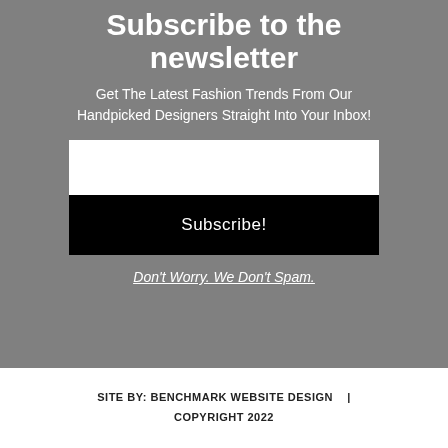Subscribe to the newsletter
Get The Latest Fashion Trends From Our Handpicked Designers Straight Into Your Inbox!
[Figure (other): White email input field]
Subscribe!
Don't Worry. We Don't Spam.
SITE BY: BENCHMARK WEBSITE DESIGN | COPYRIGHT 2022